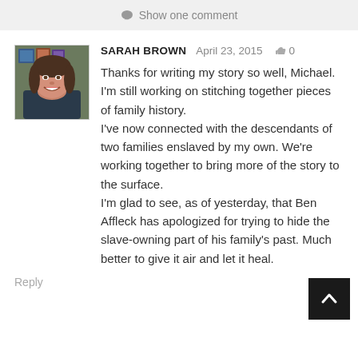Show one comment
[Figure (photo): Profile photo of Sarah Brown, a woman with brown hair, smiling]
SARAH BROWN   April 23, 2015   👍 0
Thanks for writing my story so well, Michael. I'm still working on stitching together pieces of family history.
I've now connected with the descendants of two families enslaved by my own. We're working together to bring more of the story to the surface.
I'm glad to see, as of yesterday, that Ben Affleck has apologized for trying to hide the slave-owning part of his family's past. Much better to give it air and let it heal.
Reply